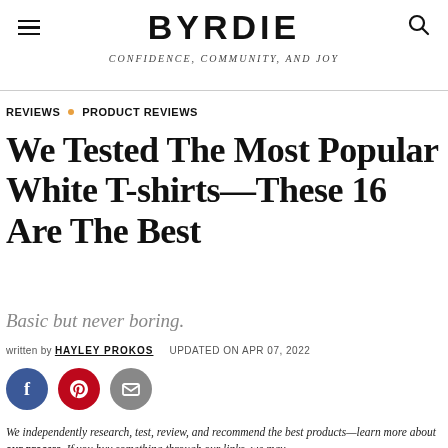BYRDIE — CONFIDENCE, COMMUNITY, AND JOY
REVIEWS • PRODUCT REVIEWS
We Tested The Most Popular White T-shirts—These 16 Are The Best
Basic but never boring.
written by HAYLEY PROKOS   UPDATED ON APR 07, 2022
[Figure (infographic): Social share icons: Facebook (blue circle with f), Pinterest (red circle with p icon), Email (grey circle with envelope icon)]
We independently research, test, review, and recommend the best products—learn more about our process. If you buy something through our links, we may